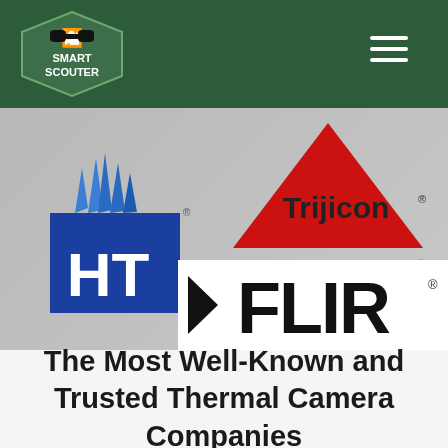[Figure (logo): Smart Scouter website header with dark green background, Smart Scouter hexagon logo on the left, and hamburger menu icon on the right]
[Figure (photo): Collage of thermal camera company logos on grey background: N-Vision HT logo (blue), Trijicon logo (red triangle with Trijicon text and 'Brilliant Aiming Solutions' tagline), and partially visible FLIR logo on white card]
The Most Well-Known and Trusted Thermal Camera Companies